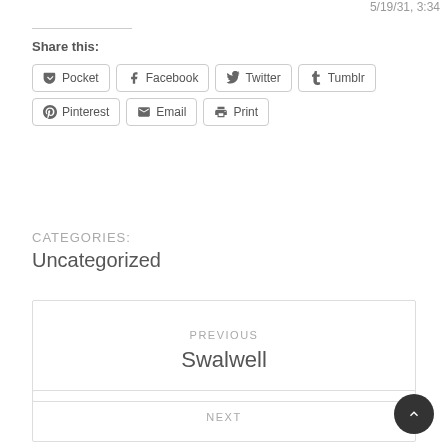5/19/31, 3:34
Share this:
Pocket | Facebook | Twitter | Tumblr | Pinterest | Email | Print
CATEGORIES:
Uncategorized
PREVIOUS
Swalwell
NEXT